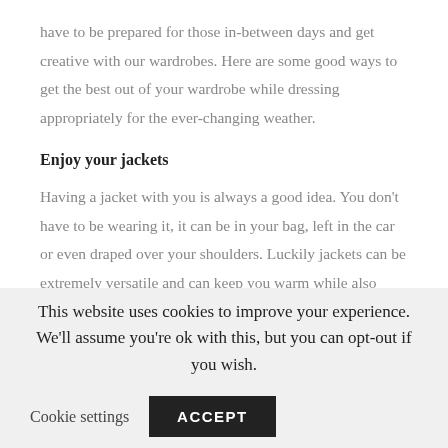have to be prepared for those in-between days and get creative with our wardrobes. Here are some good ways to get the best out of your wardrobe while dressing appropriately for the ever-changing weather.
Enjoy your jackets
Having a jacket with you is always a good idea. You don't have to be wearing it, it can be in your bag, left in the car or even draped over your shoulders. Luckily jackets can be extremely versatile and can keep you warm while also looking trendy with a summer dress. Take a classic leather jacket or a denim jacket,
This website uses cookies to improve your experience. We'll assume you're ok with this, but you can opt-out if you wish.
Cookie settings   ACCEPT